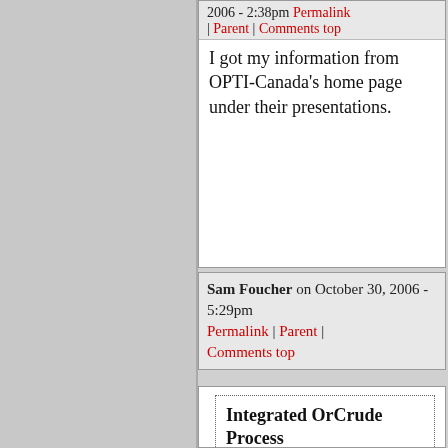2006 - 2:38pm Permalink | Parent | Comments top
I got my information from OPTI-Canada's home page under their presentations.
Sam Foucher on October 30, 2006 - 5:29pm Permalink | Parent | Comments top
Integrated OrCrude Process

One of the key competitive advantages OPTI brings to oil sands development is our proprietary, next-